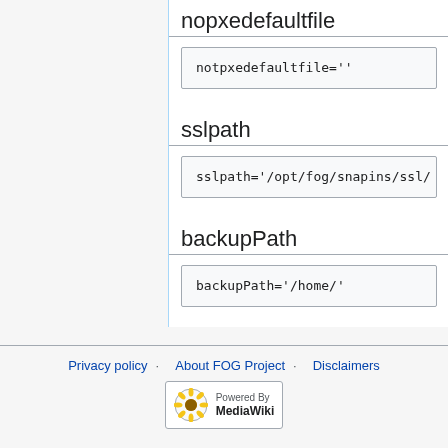nopxedefaultfile
notpxedefaultfile=''
sslpath
sslpath='/opt/fog/snapins/ssl/
backupPath
backupPath='/home/'
Privacy policy · About FOG Project · Disclaimers